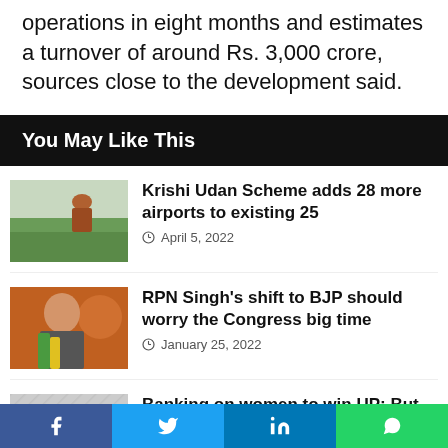The proposed facility is expected to start operations in eight months and estimates a turnover of around Rs. 3,000 crore, sources close to the development said.
You May Like This
[Figure (photo): Farmer working in a green agricultural field]
Krishi Udan Scheme adds 28 more airports to existing 25
April 5, 2022
[Figure (photo): Man in green and yellow scarf against orange BJP backdrop]
RPN Singh's shift to BJP should worry the Congress big time
January 25, 2022
[Figure (photo): Partial image of woman, patterned background]
Banking on women to win UP; But
Facebook | Twitter | LinkedIn | WhatsApp